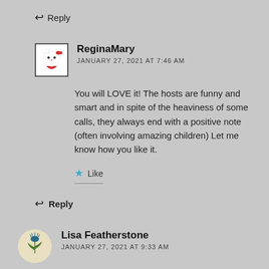↩ Reply
ReginaMary
JANUARY 27, 2021 AT 7:46 AM
You will LOVE it! The hosts are funny and smart and in spite of the heaviness of some calls, they always end with a positive note (often involving amazing children) Let me know how you like it.
★ Like
↩ Reply
Lisa Featherstone
JANUARY 27, 2021 AT 9:33 AM